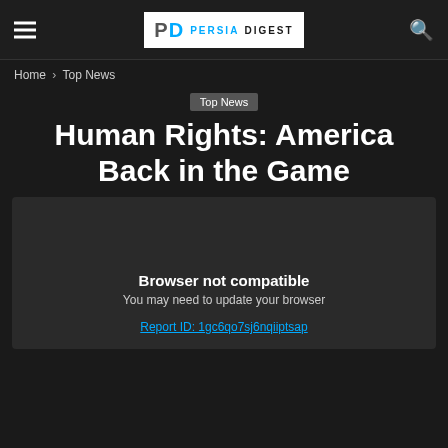Persia Digest — navigation header with hamburger menu, logo, and search icon
Home › Top News
Top News
Human Rights: America Back in the Game
[Figure (other): Browser not compatible message with report ID link. Text: 'Browser not compatible', 'You may need to update your browser', 'Report ID: 1gc6qo7sj6nqiiptsap']